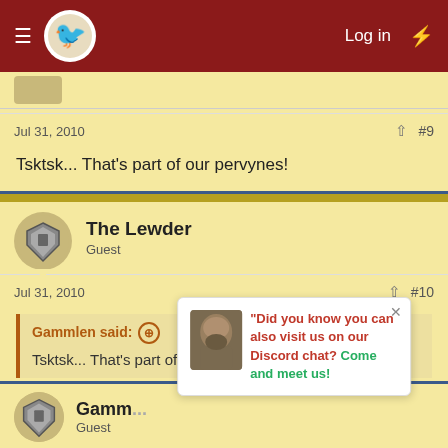Log in
Tsktsk... That's part of our pervynes!
Jul 31, 2010  #9
The Lewder
Guest
Jul 31, 2010  #10
Gammlen said: Tsktsk... That's part of our pervynes!
And too much perviness is inappropriate ;o
Gamm... Guest
Did you know you can also visit us on our Discord chat? Come and meet us!